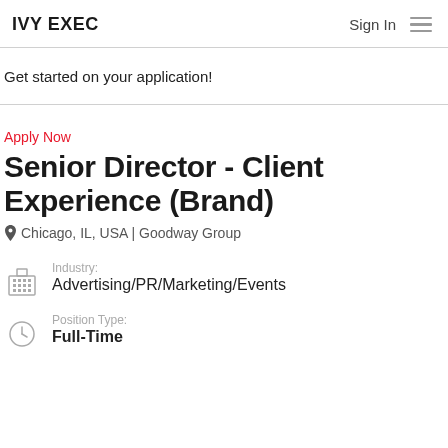IVY EXEC  Sign In ☰
Get started on your application!
Apply Now
Senior Director - Client Experience (Brand)
📍 Chicago, IL, USA | Goodway Group
Industry: Advertising/PR/Marketing/Events
Position Type: Full-Time